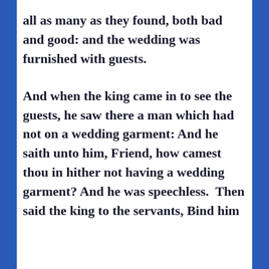all as many as they found, both bad and good: and the wedding was furnished with guests.

And when the king came in to see the guests, he saw there a man which had not on a wedding garment: And he saith unto him, Friend, how camest thou in hither not having a wedding garment? And he was speechless. Then said the king to the servants, Bind him